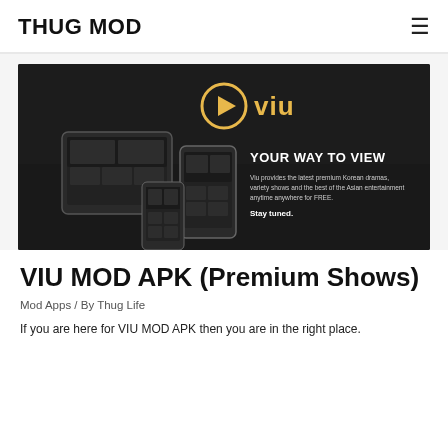THUG MOD
[Figure (screenshot): Viu app promotional banner on dark background showing tablets and phones with app screens. Gold Viu logo at top. Text reads 'YOUR WAY TO VIEW' and 'Viu provides the latest premium Korean dramas, variety shows and the best of the Asian entertainment anytime anywhere for FREE. Stay tuned.']
VIU MOD APK (Premium Shows)
Mod Apps / By Thug Life
If you are here for VIU MOD APK then you are in the right place.